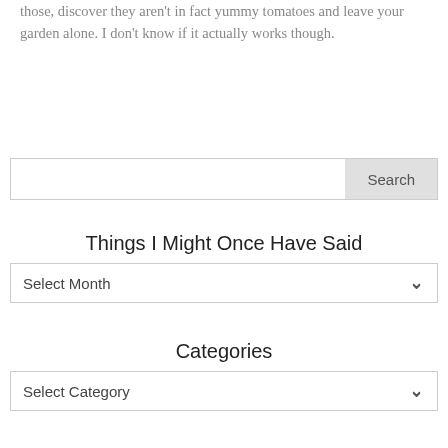those, discover they aren't in fact yummy tomatoes and leave your garden alone. I don't know if it actually works though.
Search
Things I Might Once Have Said
Select Month
Categories
Select Category